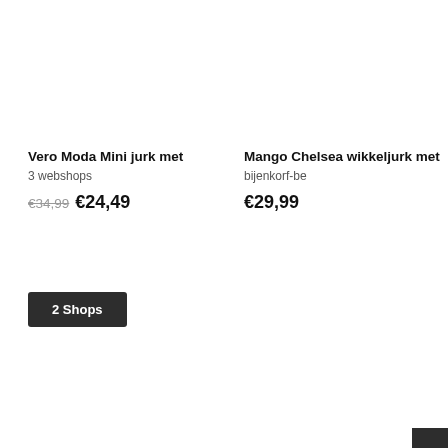Vero Moda Mini jurk met
3 webshops
€34,99  €24,49
Mango Chelsea wikkeljurk met
bijenkorf-be
€29,99
2 Shops